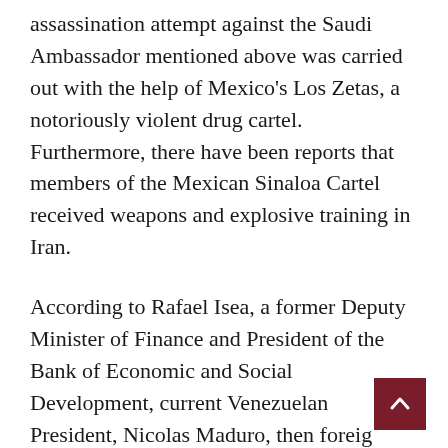assassination attempt against the Saudi Ambassador mentioned above was carried out with the help of Mexico's Los Zetas, a notoriously violent drug cartel. Furthermore, there have been reports that members of the Mexican Sinaloa Cartel received weapons and explosive training in Iran.
According to Rafael Isea, a former Deputy Minister of Finance and President of the Bank of Economic and Social Development, current Venezuelan President, Nicolas Maduro, then foreign Minister, called the...